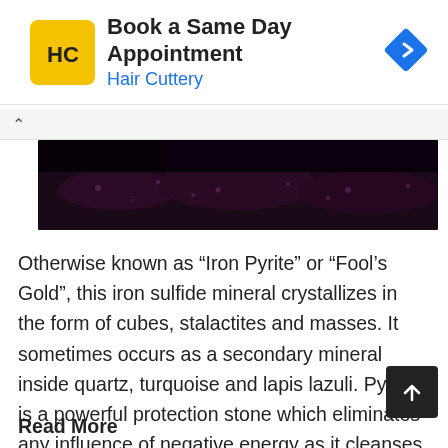[Figure (infographic): Hair Cuttery advertisement banner with yellow square logo showing HC letters, text 'Book a Same Day Appointment' and 'Hair Cuttery' in blue, with blue diamond navigation arrow on the right]
[Figure (photo): Dark close-up photograph of a dark mineral (pyrite/iron pyrite) with reddish-purple crystalline texture against a black background]
Otherwise known as “Iron Pyrite” or “Fool’s Gold”, this iron sulfide mineral crystallizes in the form of cubes, stalactites and masses. It sometimes occurs as a secondary mineral inside quartz, turquoise and lapis lazuli. Pyrite is a powerful protection stone which eliminates any influence of negative energy as it cleanses the physical, etheric, and emotional b
Read More